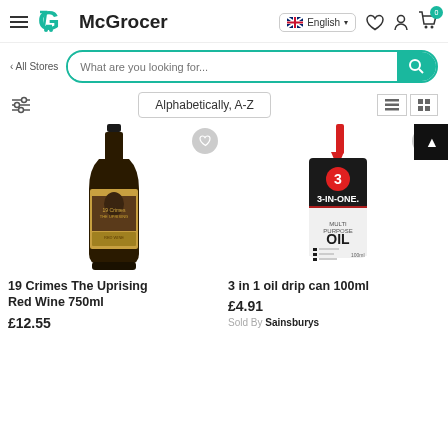[Figure (screenshot): McGrocer website header with hamburger menu, logo, language selector (English), wishlist icon, account icon, and cart icon with badge showing 0]
[Figure (screenshot): Search bar with 'All Stores' link and search input placeholder 'What are you looking for...' with teal search button]
[Figure (screenshot): Filter icon, sort dropdown showing 'Alphabetically, A-Z', and list/grid view toggle buttons]
[Figure (photo): 19 Crimes The Uprising Red Wine 750ml bottle product image]
19 Crimes The Uprising Red Wine 750ml
£12.55
[Figure (photo): 3-IN-ONE Multi Purpose Oil drip can 100ml product image with red nozzle]
3 in 1 oil drip can 100ml
£4.91
Sold By Sainsburys